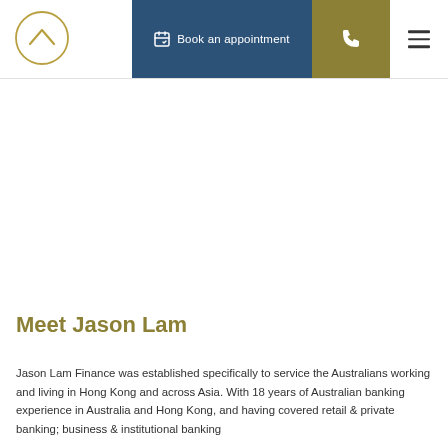[Figure (logo): Circular logo with upward chevron/arrow mark in gold outline]
Book an appointment
Meet Jason Lam
Jason Lam Finance was established specifically to service the Australians working and living in Hong Kong and across Asia. With 18 years of Australian banking experience in Australia and Hong Kong, and having covered retail & private banking; business & institutional banking